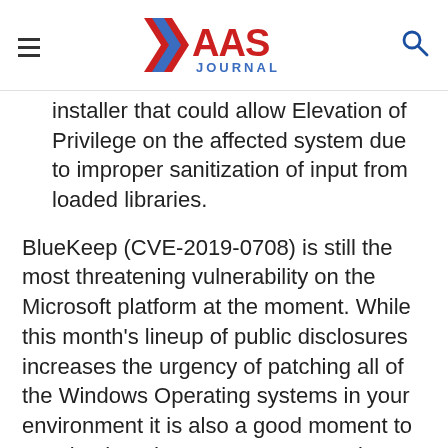XaaS Journal
installer that could allow Elevation of Privilege on the affected system due to improper sanitization of input from loaded libraries.
BlueKeep (CVE-2019-0708) is still the most threatening vulnerability on the Microsoft platform at the moment. While this month’s lineup of public disclosures increases the urgency of patching all of the Windows Operating systems in your environment it is also a good moment to step back and assess RDP usage in your environment altogether.
There is another RDP angle that is currently being attacked, and that is something called GoldBrute. Currently, around 1.6 million public facing RDP